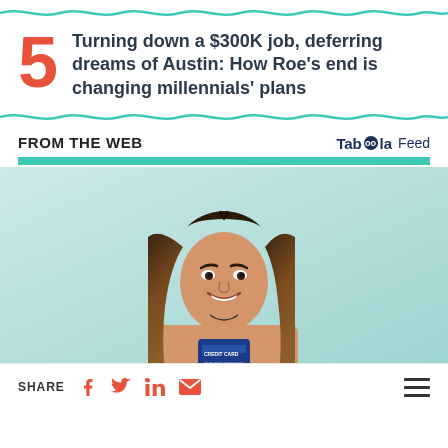Turning down a $300K job, deferring dreams of Austin: How Roe's end is changing millennials' plans
FROM THE WEB
[Figure (photo): A smiling young woman with long brown hair wearing a beige top, holding a credit card, photographed against a light teal/mint background.]
SHARE